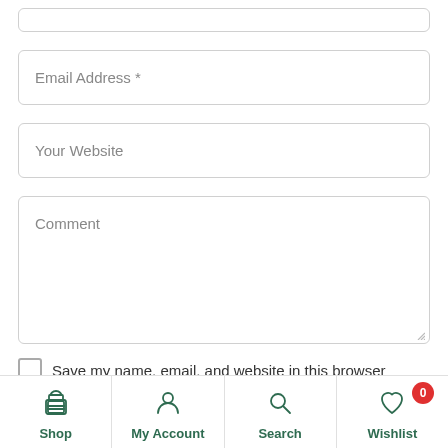[Figure (screenshot): Partial top form field (cut off at top of page)]
Email Address *
Your Website
Comment
Save my name, email, and website in this browser
Shop | My Account | Search | Wishlist (0)